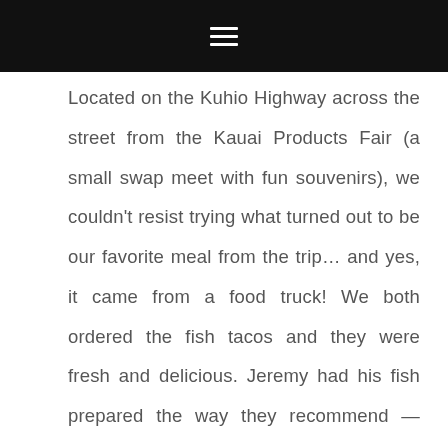☰
Located on the Kuhio Highway across the street from the Kauai Products Fair (a small swap meet with fun souvenirs), we couldn't resist trying what turned out to be our favorite meal from the trip… and yes, it came from a food truck! We both ordered the fish tacos and they were fresh and delicious. Jeremy had his fish prepared the way they recommend — medium rare — but I asked for mine fully cooked because of my health issues. Either way, we both raved about our meals and wish we had discovered Al Pastor earlier during our trip. It was THE BEST — and ironically, the least expensive — meal we had on the island.